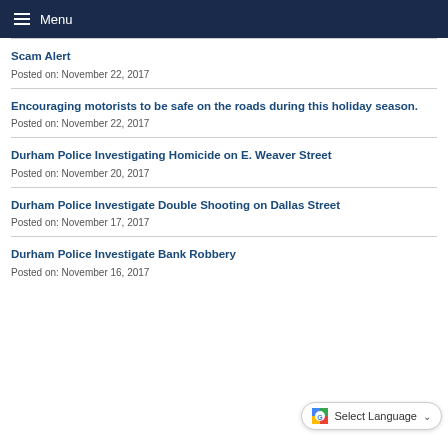Menu
Scam Alert
Posted on: November 22, 2017
Encouraging motorists to be safe on the roads during this holiday season.
Posted on: November 22, 2017
Durham Police Investigating Homicide on E. Weaver Street
Posted on: November 20, 2017
Durham Police Investigate Double Shooting on Dallas Street
Posted on: November 17, 2017
Durham Police Investigate Bank Robbery
Posted on: November 16, 2017